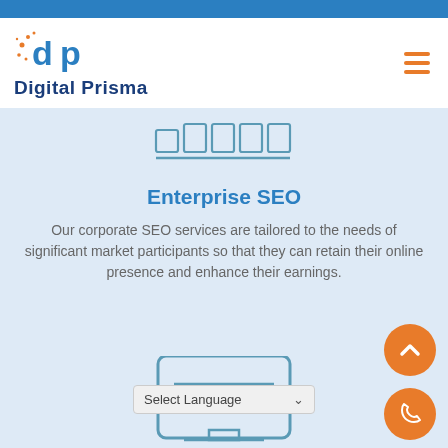[Figure (logo): Digital Prisma logo with a blue and orange 'dp' symbol and bold navy text 'Digital Prisma']
[Figure (other): Row of 5 rectangular icon boxes (browser/pagination icons) in teal outline style, with an underline]
Enterprise SEO
Our corporate SEO services are tailored to the needs of significant market participants so that they can retain their online presence and enhance their earnings.
[Figure (screenshot): Partial monitor/screen icon with teal lines visible at bottom of page]
[Figure (other): Orange circular button with upward chevron arrow]
[Figure (other): Orange circular button with phone icon]
Select Language